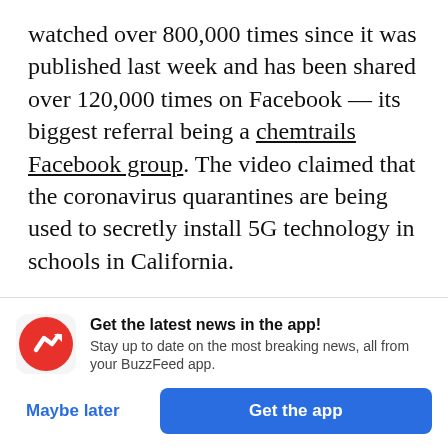watched over 800,000 times since it was published last week and has been shared over 120,000 times on Facebook — its biggest referral being a chemtrails Facebook group. The video claimed that the coronavirus quarantines are being used to secretly install 5G technology in schools in California.

“They have just set off phase 2 of their depopulation AGENDA,” one commenter wrote beneath the video. “This is a MILITARY WEAPON
[Figure (other): BuzzFeed app notification banner with red circular BuzzFeed logo (white arrow icon), bold text 'Get the latest news in the app!', subtitle 'Stay up to date on the most breaking news, all from your BuzzFeed app.', and two buttons: 'Maybe later' (blue text) and 'Get the app' (blue button).]